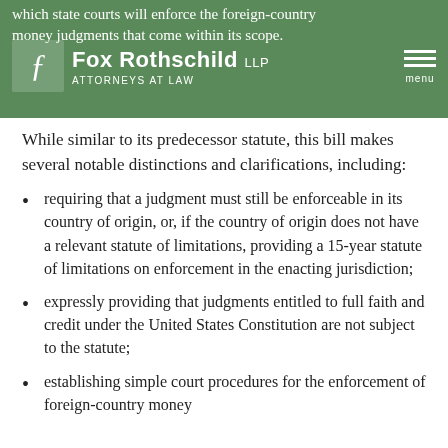which state courts will enforce the foreign-country money judgments that come within its scope. Fox Rothschild LLP ATTORNEYS AT LAW menu
While similar to its predecessor statute, this bill makes several notable distinctions and clarifications, including:
requiring that a judgment must still be enforceable in its country of origin, or, if the country of origin does not have a relevant statute of limitations, providing a 15-year statute of limitations on enforcement in the enacting jurisdiction;
expressly providing that judgments entitled to full faith and credit under the United States Constitution are not subject to the statute;
establishing simple court procedures for the enforcement of foreign-country money